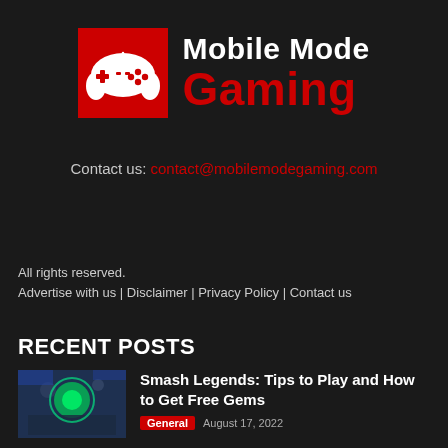[Figure (logo): Mobile Mode Gaming logo: red square with white game controller icon on left, text 'Mobile Mode' in white bold and 'Gaming' in large red bold on right]
Contact us: contact@mobilemodegaming.com
All rights reserved.
Advertise with us | Disclaimer | Privacy Policy | Contact us
RECENT POSTS
[Figure (screenshot): Thumbnail image of Smash Legends game screenshot showing character gameplay]
Smash Legends: Tips to Play and How to Get Free Gems
General   August 17, 2022